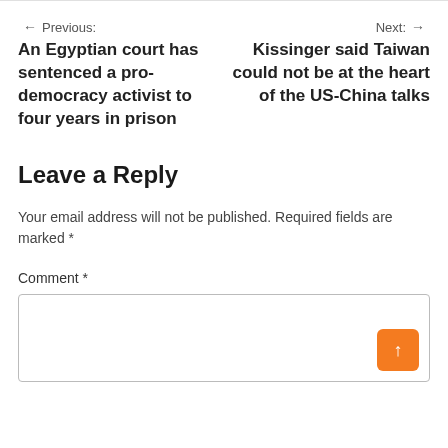← Previous: An Egyptian court has sentenced a pro-democracy activist to four years in prison
Next: → Kissinger said Taiwan could not be at the heart of the US-China talks
Leave a Reply
Your email address will not be published. Required fields are marked *
Comment *